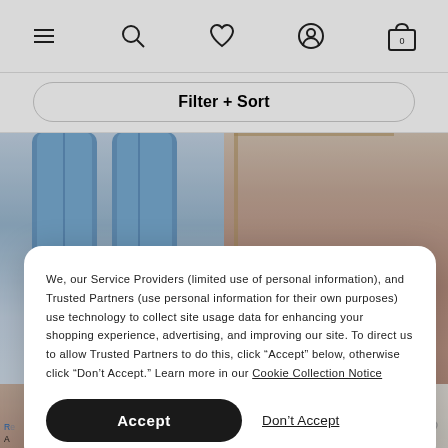[Figure (screenshot): E-commerce website navigation bar with hamburger menu, search, heart/wishlist, account, and shopping bag icons]
Filter + Sort
[Figure (photo): Two product photos: left shows blue denim jeans, right shows pink/mauve trousers on a person]
We, our Service Providers (limited use of personal information), and Trusted Partners (use personal information for their own purposes) use technology to collect site usage data for enhancing your shopping experience, advertising, and improving our site. To direct us to allow Trusted Partners to do this, click “Accept” below, otherwise click “Don’t Accept.” Learn more in our Cookie Collection Notice
Accept
Don't Accept